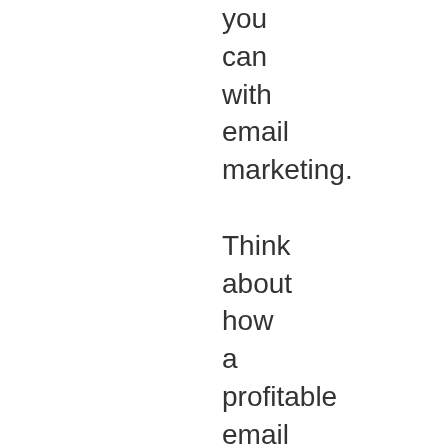you can with email marketing. Think about how a profitable email list can help your online business,